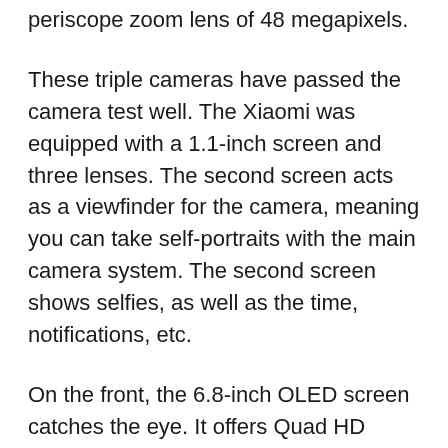periscope zoom lens of 48 megapixels.
These triple cameras have passed the camera test well. The Xiaomi was equipped with a 1.1-inch screen and three lenses. The second screen acts as a viewfinder for the camera, meaning you can take self-portraits with the main camera system. The second screen shows selfies, as well as the time, notifications, etc.
On the front, the 6.8-inch OLED screen catches the eye. It offers Quad HD resolution and a refresh rate of 120 Hz. The exact number can be found in the most popular Samsung smartphones. It's a nice, almost squirrel-free screen that doesn't perform badly.
Xiaomi Mi 11 Ultra Screen